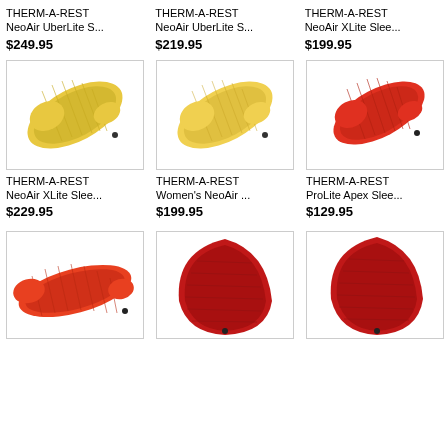THERM-A-REST NeoAir UberLite S...
$249.95
THERM-A-REST NeoAir UberLite S...
$219.95
THERM-A-REST NeoAir XLite Slee...
$199.95
[Figure (photo): Yellow sleeping pad - THERM-A-REST NeoAir XLite]
THERM-A-REST NeoAir XLite Slee...
$229.95
[Figure (photo): Yellow sleeping pad - THERM-A-REST Women's NeoAir]
THERM-A-REST Women's NeoAir ...
$199.95
[Figure (photo): Red sleeping pad - THERM-A-REST ProLite Apex]
THERM-A-REST ProLite Apex Slee...
$129.95
[Figure (photo): Red/orange sleeping pad - bottom left]
[Figure (photo): Dark red sleeping pad - bottom middle]
[Figure (photo): Dark red sleeping pad - bottom right]